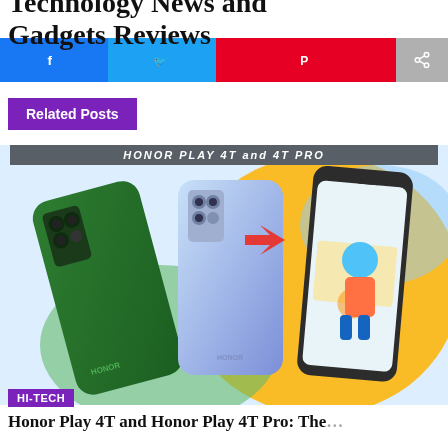Technology News and Gadgets Reviews
[Figure (other): Social sharing bar with Facebook, Twitter, Pinterest, and Share buttons]
Related Posts
[Figure (photo): Honor Play 4T and Honor Play 4T Pro smartphones promotional image showing two phones from the back and one from the front, with a cartoon character in the background. A red arrow points to the camera module. Text banner reads HONOR PLAY 4T and 4T PRO.]
HI-TECH
Honor Play 4T and Honor Play 4T Pro: The...